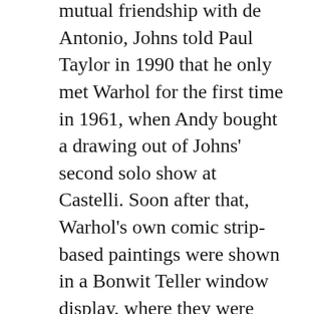mutual friendship with de Antonio, Johns told Paul Taylor in 1990 that he only met Warhol for the first time in 1961, when Andy bought a drawing out of Johns' second solo show at Castelli. Soon after that, Warhol's own comic strip-based paintings were shown in a Bonwit Teller window display, where they were likely seen by Roy Lichtenstein.
Except to whoever bought them in 2005, the current whereabouts of Matson Jones' melons and pomegranates is unknown. Though I have heard some things.
“With the certificate of authenticity from the Robert Rauschenberg Foundation.” ! Nov 17 2005, Sale 2057 Lot 223 EARLY SCULPTURE BY JOHNS AND RAUSCHENBERG POP ART, est. $5,000-8,000, sold for $10,925.